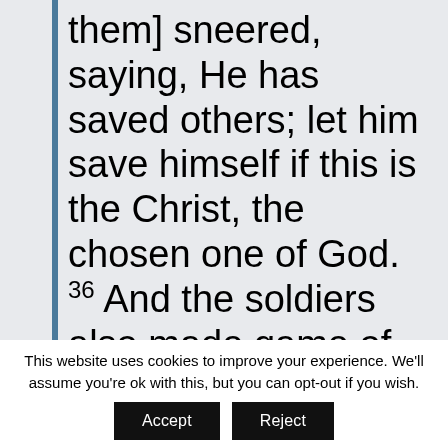them] sneered, saying, He has saved others; let him save himself if this is the Christ, the chosen one of God.
36 And the soldiers also made game of him, coming up offering him
This website uses cookies to improve your experience. We'll assume you're ok with this, but you can opt-out if you wish.